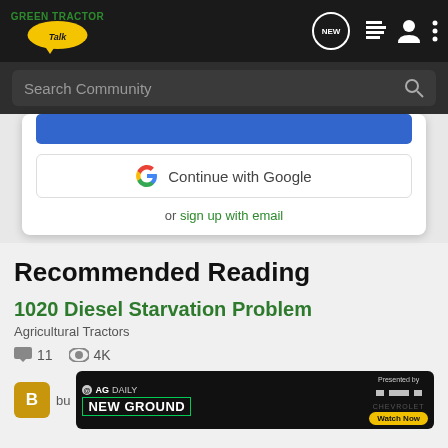[Figure (logo): Green Tractor Talk logo in top navigation bar]
Search Community
[Figure (screenshot): Continue with Google button and sign up with email option in a modal overlay]
Recommended Reading
1020 Diesel Starvation Problem
Agricultural Tractors
11   4K
[Figure (illustration): AG Daily New Ground ad banner presented by Chevrolet with Watch Now button]